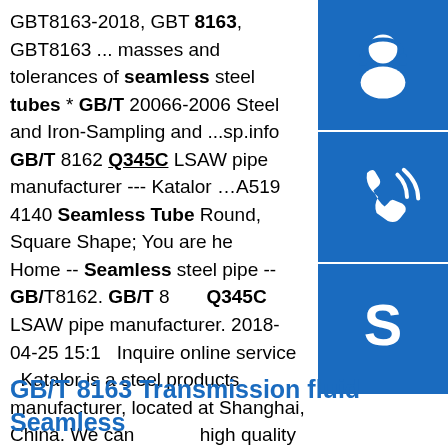GBT8163-2018, GBT 8163, GBT8163 ... masses and tolerances of seamless steel tubes * GB/T 20066-2006 Steel and Iron-Sampling and ...sp.info GB/T 8162 Q345C LSAW pipe manufacturer --- Katalor …A519 4140 Seamless Tube Round, Square Shape; You are here: Home -- Seamless steel pipe -- GB/T8162. GB/T 8162 Q345C LSAW pipe manufacturer. 2018-04-25 15:1... Inquire online service . Katalor is a steel products manufacturer, located at Shanghai, China. We can supply high quality Q345C …sp.info GB T 8163 Q345D steel properties MS steel plate ...gb t 8163 q345d welded ... Steel Plate Factory. As an established gb t 8163 q345d welded tube suppliers, we source our gb t 8163 q345d welded tube material globally from approved mills and offer a large range of forms, sizes and grades from stock.Contact us if you have any questions about our products and services. gb t 8163 q345d seamless ...
[Figure (illustration): Three blue sidebar buttons: headset/customer service icon, phone/call icon, and Skype icon]
GB/T 8163 Transmission fluid Seamless